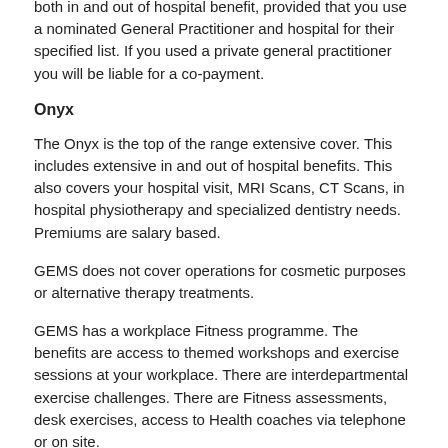both in and out of hospital benefit, provided that you use a nominated General Practitioner and hospital for their specified list. If you used a private general practitioner you will be liable for a co-payment.
Onyx
The Onyx is the top of the range extensive cover. This includes extensive in and out of hospital benefits. This also covers your hospital visit, MRI Scans, CT Scans, in hospital physiotherapy and specialized dentistry needs. Premiums are salary based.
GEMS does not cover operations for cosmetic purposes or alternative therapy treatments.
GEMS has a workplace Fitness programme. The benefits are access to themed workshops and exercise sessions at your workplace. There are interdepartmental exercise challenges. There are Fitness assessments, desk exercises, access to Health coaches via telephone or on site.